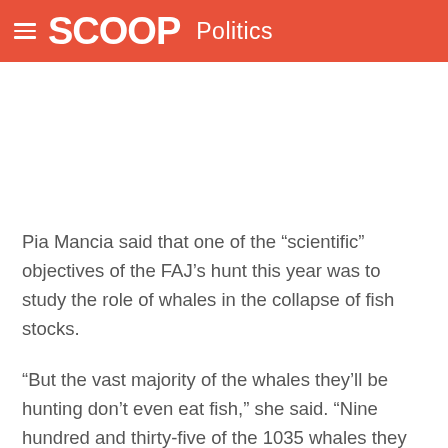SCOOP Politics
[Figure (other): Advertisement placeholder area (blank white space)]
Pia Mancia said that one of the “scientific” objectives of the FAJ’s hunt this year was to study the role of whales in the collapse of fish stocks.
“But the vast majority of the whales they’ll be hunting don’t even eat fish,” she said. “Nine hundred and thirty-five of the 1035 whales they intend catching are Southern Ocean minke whales and they eat krill.”